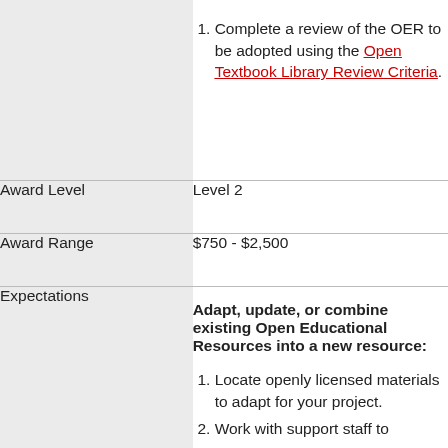Complete a review of the OER to be adopted using the Open Textbook Library Review Criteria.
Award Level
Level 2
Award Range
$750 - $2,500
Expectations
Adapt, update, or combine existing Open Educational Resources into a new resource:
Locate openly licensed materials to adapt for your project.
Work with support staff to